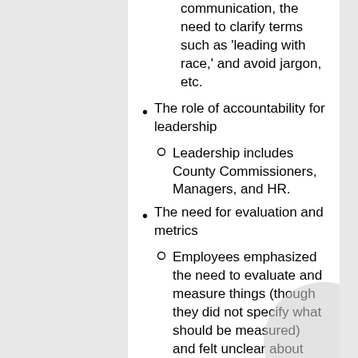communication, the need to clarify terms such as ‘leading with race,’ and avoid jargon, etc.
The role of accountability for leadership
Leadership includes County Commissioners, Managers, and HR.
The need for evaluation and metrics
Employees emphasized the need to evaluate and measure things (though they did not specify what should be measured) and felt unclear about what the outcomes were.
A need for trainings and safe